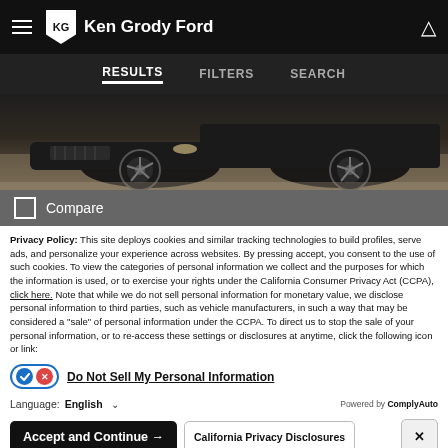Ken Grody Ford
RESULTS  FILTERS  SEARCH
[Figure (photo): Partial view of a dark-colored Ford vehicle, showing the front bumper, grille, and wheel on a showroom floor.]
Compare
Privacy Policy: This site deploys cookies and similar tracking technologies to build profiles, serve ads, and personalize your experience across websites. By pressing accept, you consent to the use of such cookies. To view the categories of personal information we collect and the purposes for which the information is used, or to exercise your rights under the California Consumer Privacy Act (CCPA), click here. Note that while we do not sell personal information for monetary value, we disclose personal information to third parties, such as vehicle manufacturers, in such a way that may be considered a "sale" of personal information under the CCPA. To direct us to stop the sale of your personal information, or to re-access these settings or disclosures at anytime, click the following icon or link:
Do Not Sell My Personal Information
Language: English
Powered by ComplyAuto
Accept and Continue →  California Privacy Disclosures  ×